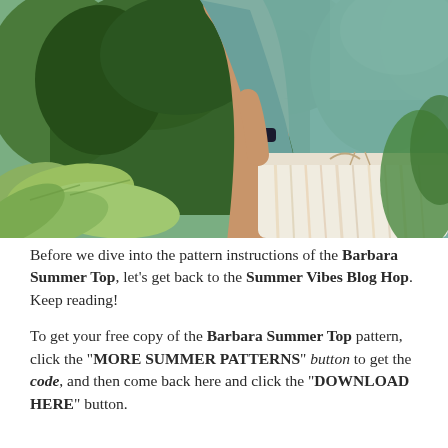[Figure (photo): A person wearing a teal/aqua knitted summer top and white striped shorts with a drawstring, standing in front of green garden plants including large-leafed hostas. The person's face is not visible (cropped). They have a dark fitness tracker on their wrist.]
Before we dive into the pattern instructions of the Barbara Summer Top, let's get back to the Summer Vibes Blog Hop. Keep reading!
To get your free copy of the Barbara Summer Top pattern, click the "MORE SUMMER PATTERNS" button to get the code, and then come back here and click the "DOWNLOAD HERE" button.